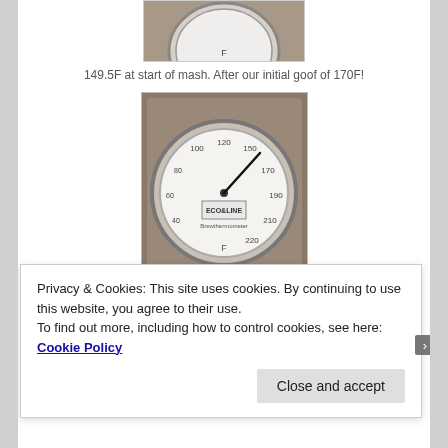[Figure (photo): Thermometer gauge showing temperature reading, partially visible at top of page]
149.5F at start of mash. After our initial goof of 170F!
[Figure (photo): Circular dial thermometer showing approximately 137F reading]
137F a the end of 60 minutes for first mash.
Privacy & Cookies: This site uses cookies. By continuing to use this website, you agree to their use.
To find out more, including how to control cookies, see here: Cookie Policy
Close and accept